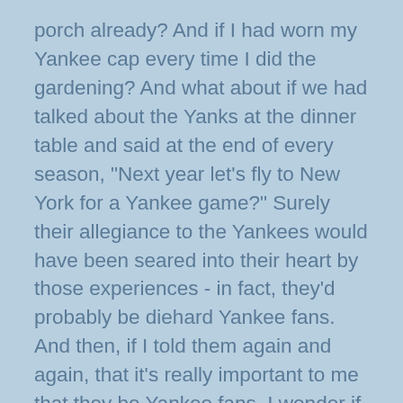porch already? And if I had worn my Yankee cap every time I did the gardening? And what about if we had talked about the Yanks at the dinner table and said at the end of every season, "Next year let's fly to New York for a Yankee game?" Surely their allegiance to the Yankees would have been seared into their heart by those experiences - in fact, they'd probably be diehard Yankee fans. And then, if I told them again and again, that it's really important to me that they be Yankee fans, I wonder if I would have had a more sympathetic ear? So here's my pitch, but it's not about the Yankees. Make sure you're a diehard fan of our religion. Take your kids regularly to synagogue, make a sukkah and sit in it